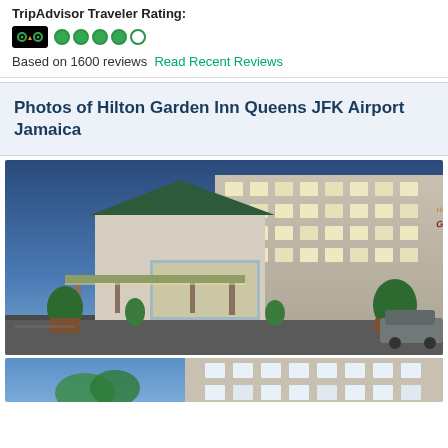TripAdvisor Traveler Rating:
[Figure (infographic): TripAdvisor owl logo with 4 filled green circles and 1 empty circle indicating a 4 out of 5 rating]
Based on 1600 reviews   Read Recent Reviews
Photos of Hilton Garden Inn Queens JFK Airport Jamaica
[Figure (photo): Exterior photo of Hilton Garden Inn Queens JFK Airport Jamaica taken at dusk, showing the hotel building with 'Hilton Garden Inn' signage, illuminated entrance canopy, and parking area]
[Figure (photo): Partial view of another exterior photo of the hotel, showing blue sky and building facade]